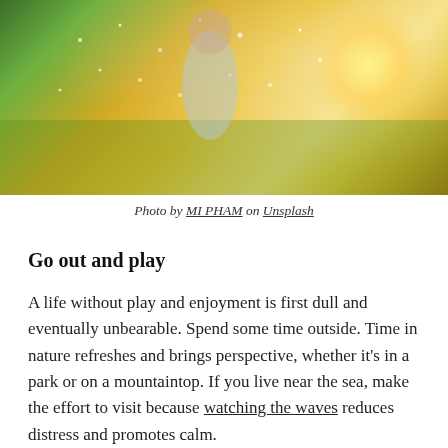[Figure (photo): A joyful young boy running through water sprinklers outdoors, wearing a white t-shirt and blue jeans, with golden sunlight and green grass in the background.]
Photo by MI PHAM on Unsplash
Go out and play
A life without play and enjoyment is first dull and eventually unbearable. Spend some time outside. Time in nature refreshes and brings perspective, whether it's in a park or on a mountaintop. If you live near the sea, make the effort to visit because watching the waves reduces distress and promotes calm.